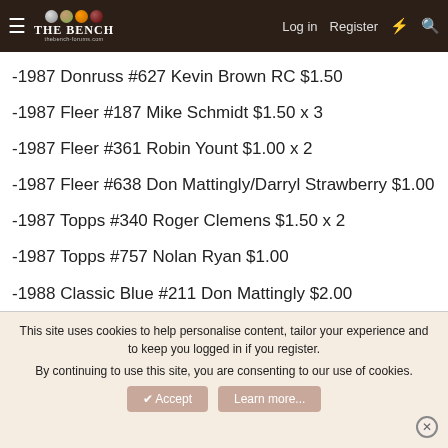The Bench — Log in | Register
-1987 Donruss #627 Kevin Brown RC $1.50
-1987 Fleer #187 Mike Schmidt $1.50 x 3
-1987 Fleer #361 Robin Yount $1.00 x 2
-1987 Fleer #638 Don Mattingly/Darryl Strawberry $1.00
-1987 Topps #340 Roger Clemens $1.50 x 2
-1987 Topps #757 Nolan Ryan $1.00
-1988 Classic Blue #211 Don Mattingly $2.00
This site uses cookies to help personalise content, tailor your experience and to keep you logged in if you register. By continuing to use this site, you are consenting to our use of cookies.